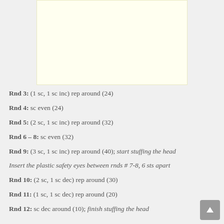[Figure (other): Yellow/cream colored advertisement placeholder box]
Rnd 3: (1 sc, 1 sc inc) rep around (24)
Rnd 4: sc even (24)
Rnd 5: (2 sc, 1 sc inc) rep around (32)
Rnd 6 – 8: sc even (32)
Rnd 9: (3 sc, 1 sc inc) rep around (40); start stuffing the head
Insert the plastic safety eyes between rnds # 7-8, 6 sts apart
Rnd 10: (2 sc, 1 sc dec) rep around (30)
Rnd 11: (1 sc, 1 sc dec) rep around (20)
Rnd 12: sc dec around (10); finish stuffing the head